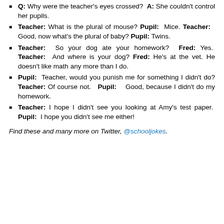Q: Why were the teacher's eyes crossed? A: She couldn't control her pupils.
Teacher: What is the plural of mouse? Pupil: Mice. Teacher: Good, now what's the plural of baby? Pupil: Twins.
Teacher: So your dog ate your homework? Fred: Yes. Teacher: And where is your dog? Fred: He's at the vet. He doesn't like math any more than I do.
Pupil: Teacher, would you punish me for something I didn't do? Teacher: Of course not. Pupil: Good, because I didn't do my homework.
Teacher: I hope I didn't see you looking at Amy's test paper. Pupil: I hope you didn't see me either!
Find these and many more on Twitter, @schooljokes.